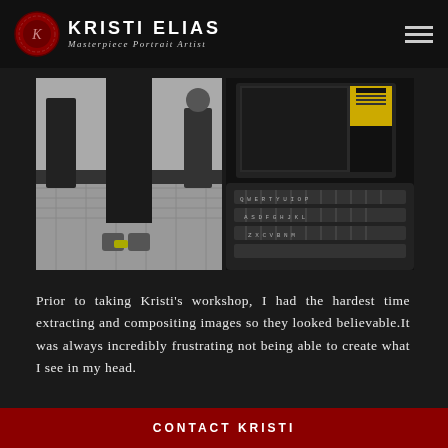KRISTI ELIAS Masterpiece Portrait Artist
[Figure (photo): Two side-by-side photos: left shows person's legs/feet wearing sneakers on a checkered floor with other people in background; right shows a laptop keyboard with a monitor screen displaying photo editing software in the background]
Prior to taking Kristi’s workshop, I had the hardest time extracting and compositing images so they looked believable.It was always incredibly frustrating not being able to create what I see in my head.
CONTACT KRISTI